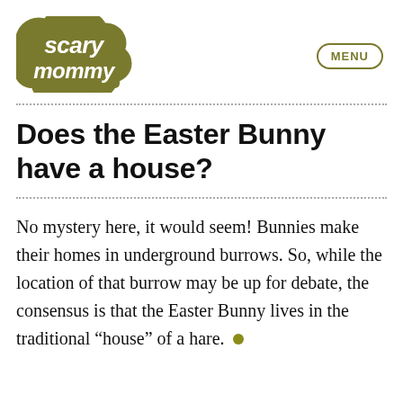[Figure (logo): Scary Mommy logo in olive/dark yellow-green color with bubbly font]
MENU
Does the Easter Bunny have a house?
No mystery here, it would seem! Bunnies make their homes in underground burrows. So, while the location of that burrow may be up for debate, the consensus is that the Easter Bunny lives in the traditional “house” of a hare.